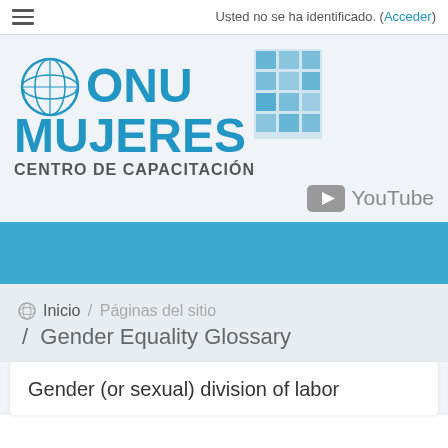Usted no se ha identificado. (Acceder)
[Figure (logo): ONU Mujeres Centro de Capacitación logo with UN emblem and blue geometric grid graphic]
[Figure (logo): YouTube logo button (gray)]
Inicio / Páginas del sitio / Gender Equality Glossary
Gender (or sexual) division of labor